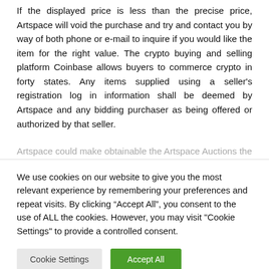If the displayed price is less than the precise price, Artspace will void the purchase and try and contact you by way of both phone or e-mail to inquire if you would like the item for the right value. The crypto buying and selling platform Coinbase allows buyers to commerce crypto in forty states. Any items supplied using a seller's registration log in information shall be deemed by Artspace and any bidding purchaser as being offered or authorized by that seller.
Artspace could make obtainable the Artspace Auctions the
We use cookies on our website to give you the most relevant experience by remembering your preferences and repeat visits. By clicking “Accept All”, you consent to the use of ALL the cookies. However, you may visit "Cookie Settings" to provide a controlled consent.